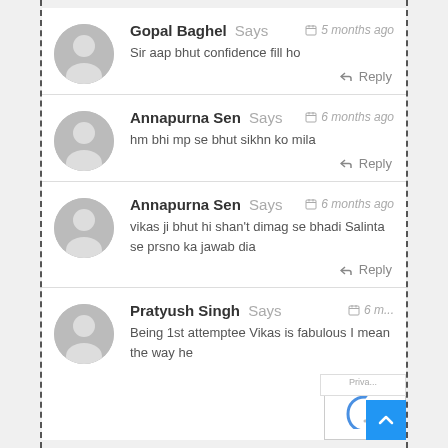Gopal Baghel Says — 5 months ago
Sir aap bhut confidence fill ho
Reply
Annapurna Sen Says — 6 months ago
hm bhi mp se bhut sikhn ko mila
Reply
Annapurna Sen Says — 6 months ago
vikas ji bhut hi shan't dimag se bhadi Salinta se prsno ka jawab dia
Reply
Pratyush Singh Says — 6 months ago
Being 1st attemptee Vikas is fabulous I mean the way he